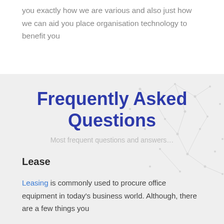you exactly how we are various and also just how we can aid you place organisation technology to benefit you
Frequently Asked Questions
Most frequent questions and answers…
Lease
Leasing is commonly used to procure office equipment in today's business world. Although, there are a few things you